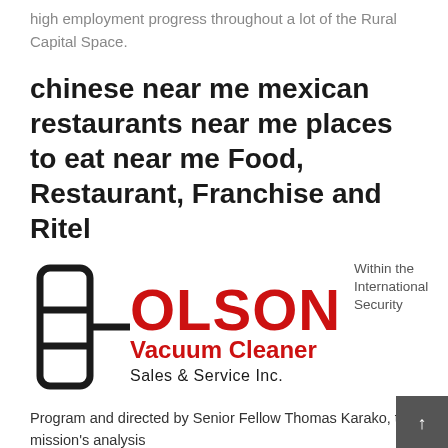high employment progress throughout a lot of the Rural Capital Space.
chinese near me mexican restaurants near me places to eat near me Food, Restaurant, Franchise and Ritel
[Figure (logo): Olson Vacuum Cleaner Sales & Service Inc. logo with a stylized cross/rectangle icon in black and red text]
Within the International Security Program and directed by Senior Fellow Thomas Karako, the mission's analysis
Program and directed by Senior Fellow Thomas Karako, the mission's analysis